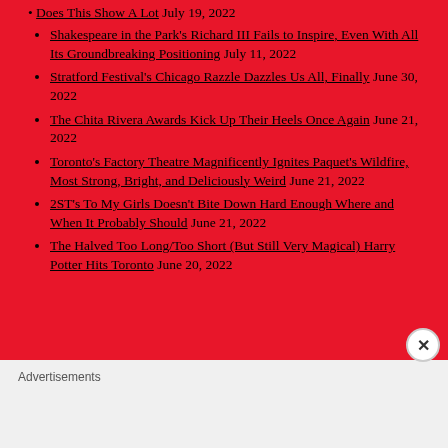Does This Show A Lot July 19, 2022
Shakespeare in the Park's Richard III Fails to Inspire, Even With All Its Groundbreaking Positioning July 11, 2022
Stratford Festival's Chicago Razzle Dazzles Us All, Finally June 30, 2022
The Chita Rivera Awards Kick Up Their Heels Once Again June 21, 2022
Toronto's Factory Theatre Magnificently Ignites Paquet's Wildfire, Most Strong, Bright, and Deliciously Weird June 21, 2022
2ST's To My Girls Doesn't Bite Down Hard Enough Where and When It Probably Should June 21, 2022
The Halved Too Long/Too Short (But Still Very Magical) Harry Potter Hits Toronto June 20, 2022
Advertisements